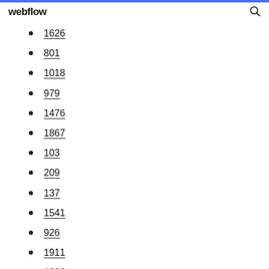webflow
1626
801
1018
979
1476
1867
103
209
137
1541
926
1911
1382